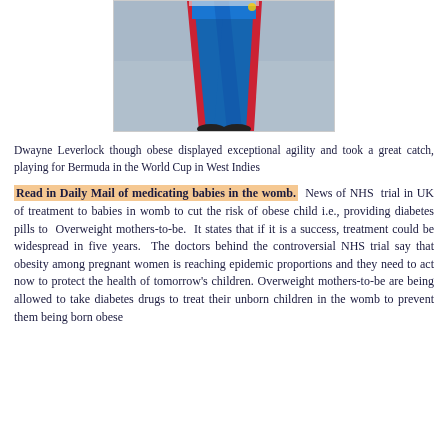[Figure (photo): Photo of a person (Dwayne Leverlock) wearing bright blue and red cricket uniform, showing lower body/legs in a wide stance]
Dwayne Leverlock though obese displayed exceptional agility and took a great catch, playing for Bermuda in the World Cup in West Indies
Read in Daily Mail of medicating babies in the womb. News of NHS trial in UK of treatment to babies in womb to cut the risk of obese child i.e., providing diabetes pills to Overweight mothers-to-be. It states that if it is a success, treatment could be widespread in five years. The doctors behind the controversial NHS trial say that obesity among pregnant women is reaching epidemic proportions and they need to act now to protect the health of tomorrow's children. Overweight mothers-to-be are being allowed to take diabetes drugs to treat their unborn children in the womb to prevent them being born obese